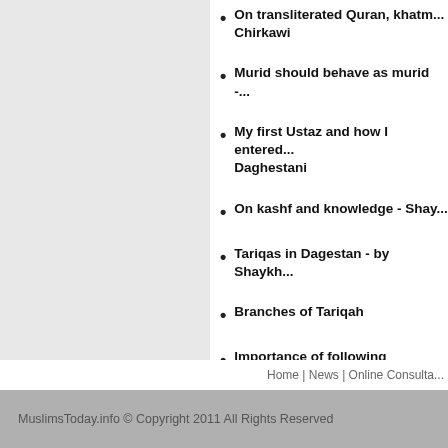On transliterated Quran, khatm... Chirkawi
Murid should behave as murid -...
My first Ustaz and how I entered... Daghestani
On kashf and knowledge - Shay...
Tariqas in Dagestan - by Shaykh...
Branches of Tariqah
Importance of following Shaykh...
Home | News | Online Consulta...
MuslimsToday.info © Copyright 2011 All Rights Reserved